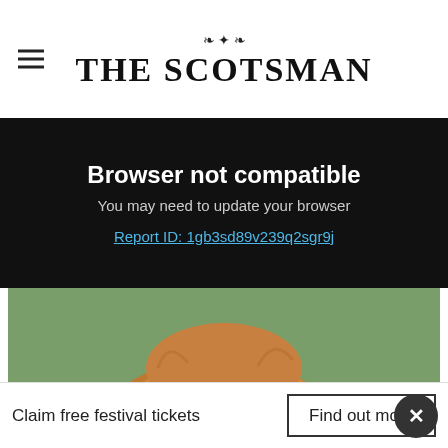THE SCOTSMAN
Browser not compatible
You may need to update your browser
Report ID: 1gb3sd89v239q2sgr9j
[Figure (photo): A Highland cow with shaggy brown fur facing the camera, wearing a GPS collar, standing in a grassy field.]
The Nofence GPS collar is unobtrusive and cattle become
Claim free festival tickets   Find out more